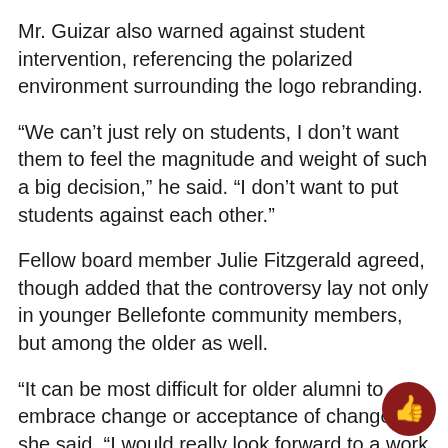Mr. Guizar also warned against student intervention, referencing the polarized environment surrounding the logo rebranding.
“We can’t just rely on students, I don’t want them to feel the magnitude and weight of such a big decision,” he said. “I don’t want to put students against each other.”
Fellow board member Julie Fitzgerald agreed, though added that the controversy lay not only in younger Bellefonte community members, but among the older as well.
“It can be most difficult for older alumni to embrace change or acceptance of change,” she said. “I would really look forward to a work session, maybe see how we can [fix] this.”